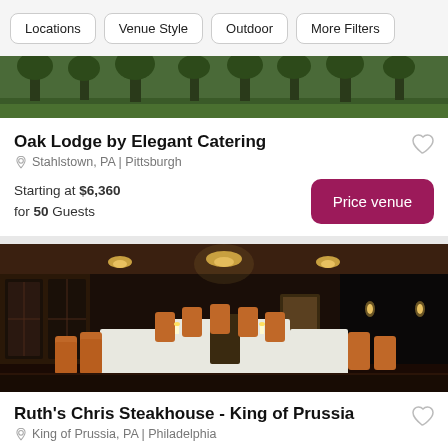Locations | Venue Style | Outdoor | More Filters
[Figure (photo): Outdoor park/forest scene showing trees and green grass, used as a venue listing background image]
Oak Lodge by Elegant Catering
Stahlstown, PA | Pittsburgh
Starting at $6,360 for 50 Guests
[Figure (photo): Interior photo of an elegant private dining room with a long rectangular table set for a banquet dinner, orange/brown chairs, dark wood walls, chandelier lighting, and dark drapes]
Ruth's Chris Steakhouse - King of Prussia
King of Prussia, PA | Philadelphia